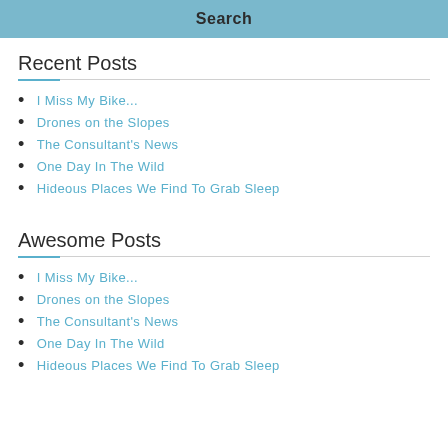Search
Recent Posts
I Miss My Bike...
Drones on the Slopes
The Consultant's News
One Day In The Wild
Hideous Places We Find To Grab Sleep
Awesome Posts
I Miss My Bike...
Drones on the Slopes
The Consultant's News
One Day In The Wild
Hideous Places We Find To Grab Sleep